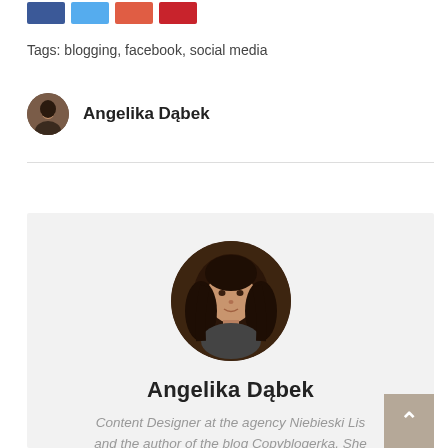[Figure (infographic): Row of four social sharing buttons: Facebook (dark blue), Twitter (light blue), Google+ (salmon/orange-red), Pinterest (dark red)]
Tags: blogging, facebook, social media
Angelika Dąbek
[Figure (photo): Circular profile photo of Angelika Dąbek - a young woman with dark hair]
Angelika Dąbek
Content Designer at the agency Niebieski Lis and the author of the blog Copyblogerka. She